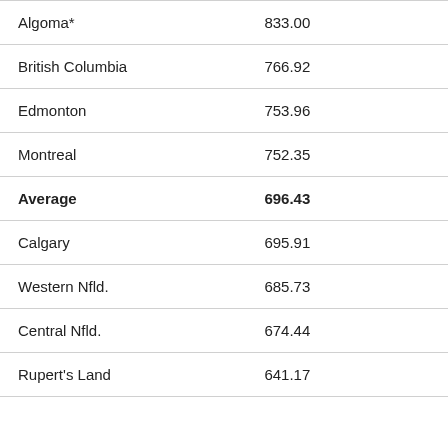|  |  |
| --- | --- |
| Algoma* | 833.00 |
| British Columbia | 766.92 |
| Edmonton | 753.96 |
| Montreal | 752.35 |
| Average | 696.43 |
| Calgary | 695.91 |
| Western Nfld. | 685.73 |
| Central Nfld. | 674.44 |
| Rupert's Land | 641.17 |